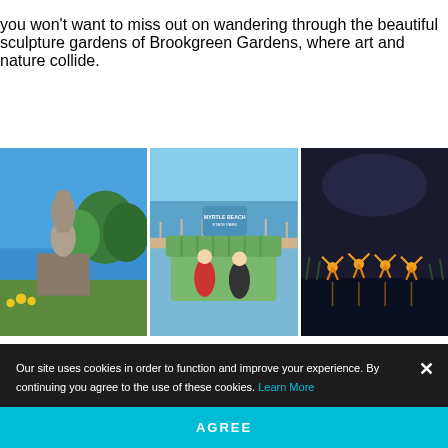you won't want to miss out on wandering through the beautiful sculpture gardens of Brookgreen Gardens, where art and nature collide.
[Figure (photo): Sculpture in garden with blue sky and green trees - Brookgreen Gardens]
[Figure (photo): Two women sitting in large Adirondack chair at Myrtle Beach State Park boardwalk]
[Figure (photo): Night scene with illuminated figures reflected in water]
Our site uses cookies in order to function and improve your experience. By continuing you agree to the use of these cookies. Learn More
AGREE